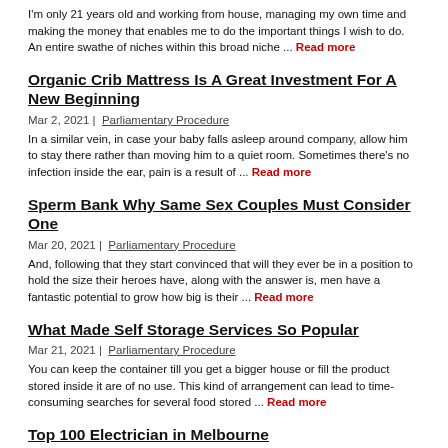I'm only 21 years old and working from house, managing my own time and making the money that enables me to do the important things I wish to do. An entire swathe of niches within this broad niche ... Read more
Organic Crib Mattress Is A Great Investment For A New Beginning
Mar 2, 2021 | Parliamentary Procedure
In a similar vein, in case your baby falls asleep around company, allow him to stay there rather than moving him to a quiet room. Sometimes there's no infection inside the ear, pain is a result of ... Read more
Sperm Bank Why Same Sex Couples Must Consider One
Mar 20, 2021 | Parliamentary Procedure
And, following that they start convinced that will they ever be in a position to hold the size their heroes have, along with the answer is, men have a fantastic potential to grow how big is their ... Read more
What Made Self Storage Services So Popular
Mar 21, 2021 | Parliamentary Procedure
You can keep the container till you get a bigger house or fill the product stored inside it are of no use. This kind of arrangement can lead to time-consuming searches for several food stored ... Read more
Top 100 Electrician in Melbourne
Jul 30, 2021 | Parliamentary Procedure
Find Electrician ads in Melbourne. Buy and sell almost anything on icracker classifieds. Free, local, classifieds, classified Ads, icracker, icracker.com.au,